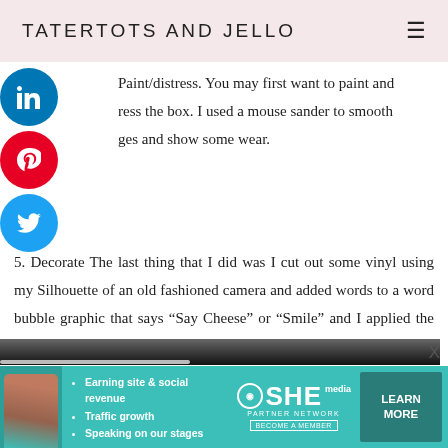TATERTOTS AND JELLO
Paint/distress. You may first want to paint and dress the box. I used a mouse sander to smooth edges and show some wear.
5. Decorate The last thing that I did was I cut out some vinyl using my Silhouette of an old fashioned camera and added words to a word bubble graphic that says “Say Cheese” or “Smile” and I applied the vinyl onto the box. And then I added some felt feet to the bottom of the box.
[Figure (other): Dark image strip at bottom of content area, partially visible photograph]
[Figure (other): Advertisement banner for SHE Partner Network with teal background, woman photo, bullet points about earning site & social revenue, traffic growth, speaking on our stages, SHE logo, and LEARN MORE button]